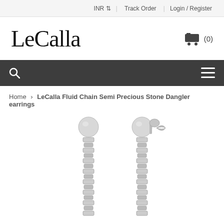INR | Track Order | Login / Register
LeCalla
[Figure (logo): LeCalla logo text in serif font with shopping cart icon showing (0)]
[Figure (other): Dark navigation bar with search icon on left and hamburger menu icon on right]
Home > LeCalla Fluid Chain Semi Precious Stone Dangler earrings
[Figure (photo): Two silver chain dangler earrings with ball tops on white background, showing front and back views]